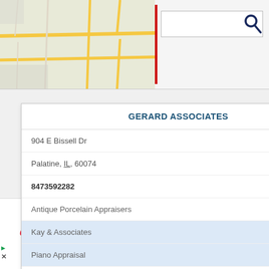[Figure (screenshot): Top map thumbnail showing road map area, with red cursor blinking line and search input box with magnifying glass icon]
GERARD ASSOCIATES
904 E Bissell Dr
Palatine, IL, 60074
8473592282
Antique Porcelain Appraisers
Kay & Associates
Piano Appraisal
Rare Book Appraisers
Real Estate Appraisers Commercial &
[Figure (map): Street map showing location pin marker for Gerard Associates in Palatine, IL area]
Shop Walgreens Brand Health & Wellness Today